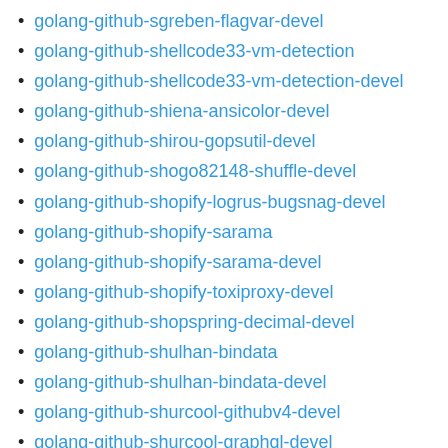golang-github-sgreben-flagvar-devel
golang-github-shellcode33-vm-detection
golang-github-shellcode33-vm-detection-devel
golang-github-shiena-ansicolor-devel
golang-github-shirou-gopsutil-devel
golang-github-shogo82148-shuffle-devel
golang-github-shopify-logrus-bugsnag-devel
golang-github-shopify-sarama
golang-github-shopify-sarama-devel
golang-github-shopify-toxiproxy-devel
golang-github-shopspring-decimal-devel
golang-github-shulhan-bindata
golang-github-shulhan-bindata-devel
golang-github-shurcool-githubv4-devel
golang-github-shurcool-graphql-devel
golang-github-shurcool-httpfs-devel
golang-github-shurcool-httpgzip-devel
golang-github-shurcool-sanitized-anchor-name-devel